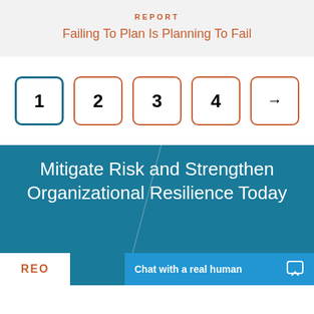REPORT
Failing To Plan Is Planning To Fail
[Figure (infographic): Pagination navigation boxes numbered 1, 2, 3, 4 with an arrow box, box 1 in teal/blue border (active), boxes 2-4 and arrow in orange border]
Mitigate Risk and Strengthen Organizational Resilience Today
Chat with a real human